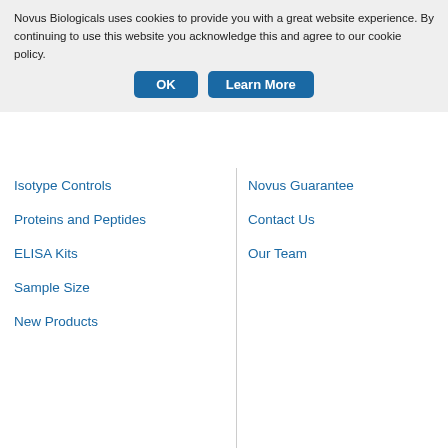Novus Biologicals uses cookies to provide you with a great website experience. By continuing to use this website you acknowledge this and agree to our cookie policy.
OK   Learn More
control. Detec
Chemiluminescen
an exposure time
second (A &amp
Isotype Controls
Proteins and Peptides
ELISA Kits
Sample Size
New Products
Novus Guarantee
Contact Us
Our Team
USA Office   Novus Biologicals, LLC   10730
Phone: 1-888-506-6887 | no
Office Hours: 8am
8am-
Visi